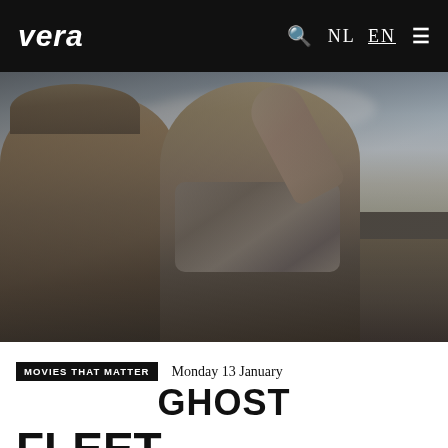vera  🔍  NL  EN  ≡
[Figure (photo): Two women outdoors under a cloudy sky. Left figure wears a hat and glasses with a floral top. Center figure has dark hair in a bun, wears a checkered scarf and black top with one arm raised, looking upward. A third person is partially visible in the background.]
MOVIES THAT MATTER
Monday 13 January
GHOST
FLEET
Shannon Service/Jerry Waldron, USA 2018